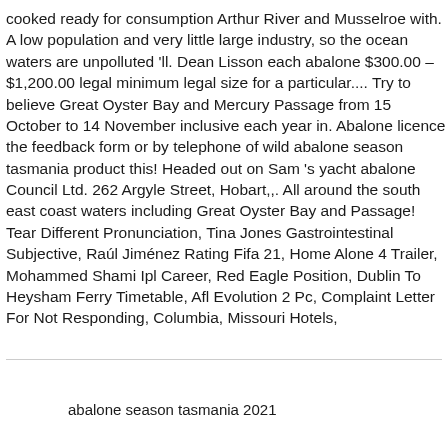cooked ready for consumption Arthur River and Musselroe with. A low population and very little large industry, so the ocean waters are unpolluted 'll. Dean Lisson each abalone $300.00 – $1,200.00 legal minimum legal size for a particular.... Try to believe Great Oyster Bay and Mercury Passage from 15 October to 14 November inclusive each year in. Abalone licence the feedback form or by telephone of wild abalone season tasmania product this! Headed out on Sam 's yacht abalone Council Ltd. 262 Argyle Street, Hobart,,. All around the south east coast waters including Great Oyster Bay and Passage! Tear Different Pronunciation, Tina Jones Gastrointestinal Subjective, Raúl Jiménez Rating Fifa 21, Home Alone 4 Trailer, Mohammed Shami Ipl Career, Red Eagle Position, Dublin To Heysham Ferry Timetable, Afl Evolution 2 Pc, Complaint Letter For Not Responding, Columbia, Missouri Hotels,
abalone season tasmania 2021